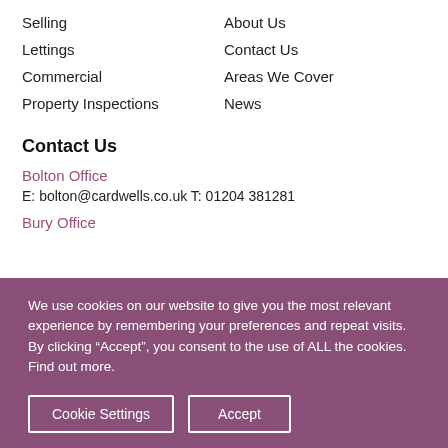Selling
Lettings
Commercial
Property Inspections
About Us
Contact Us
Areas We Cover
News
Contact Us
Bolton Office
E: bolton@cardwells.co.uk T: 01204 381281
Bury Office
We use cookies on our website to give you the most relevant experience by remembering your preferences and repeat visits. By clicking “Accept”, you consent to the use of ALL the cookies. Find out more.
Cookie Settings
Accept